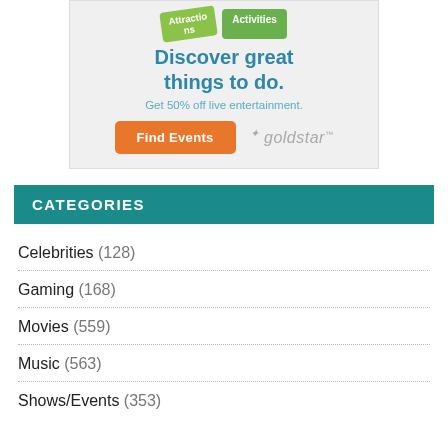[Figure (illustration): Advertisement banner for Goldstar showing activity tags ('Attractions', 'Activities'), headline 'Discover great things to do.', subtext 'Get 50% off live entertainment.', orange 'Find Events' button, and Goldstar logo]
CATEGORIES
Celebrities (128)
Gaming (168)
Movies (559)
Music (563)
Shows/Events (353)